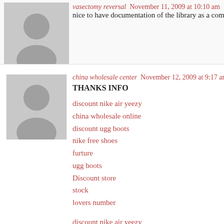vasectomy reversal  November 11, 2009 at 10:10 am
nice to have documentation of the library as a com
china wholesale center  November 12, 2009 at 9:17 am
THANKS INFO
discount nike air yeezy
china wholesale online
discount ugg boots
nike free shoes
furture
ugg boots
Discount store
stock
lovers number
discount nike air yeezy
china wholesale online
discount ugg boots
nike free shoes
stock